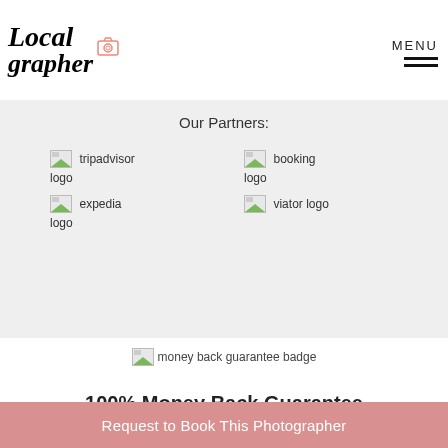[Figure (logo): Localgrapher logo with camera icon, handwritten italic style]
MENU
Our Partners:
[Figure (logo): tripadvisor logo (broken image placeholder)]
[Figure (logo): booking logo (broken image placeholder)]
[Figure (logo): expedia logo (broken image placeholder)]
[Figure (logo): viator logo (broken image placeholder)]
[Figure (other): money back guarantee badge (broken image placeholder)]
100% Money Back Guarantee
Request to Book This Photographer